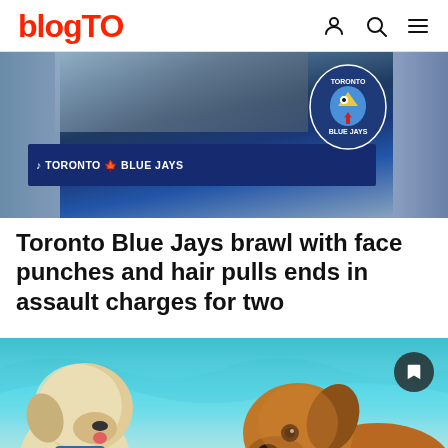blogTO
[Figure (photo): Toronto Blue Jays storefront/building with Blue Jays signage and logo visible]
Toronto Blue Jays brawl with face punches and hair pulls ends in assault charges for two
[Figure (photo): Two dogs swimming in a pool — a white fluffy dog on the left and a golden retriever on the right, with turquoise water in the background]